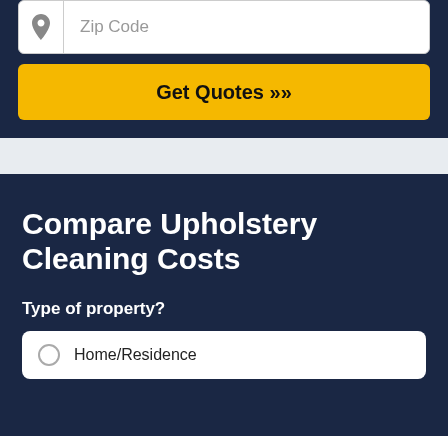[Figure (screenshot): Zip code input field with a map pin icon on the left and placeholder text 'Zip Code']
[Figure (screenshot): Yellow 'Get Quotes >>' button]
Compare Upholstery Cleaning Costs
Type of property?
Home/Residence